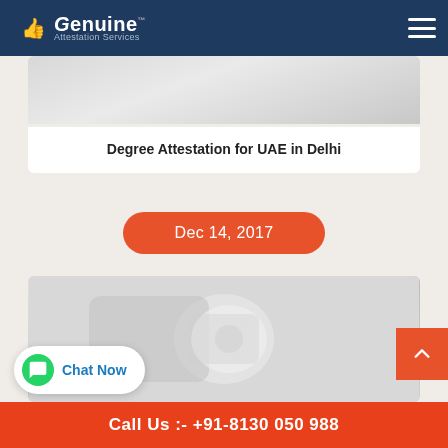Genuine Attestation Services
[Figure (photo): Blurred/grayed image at top of card]
Degree Attestation for UAE in Delhi
Dec 14, 2017
[Figure (photo): Blurred camera/document image]
Chat Now
Call Us :- +91-8130 050 988